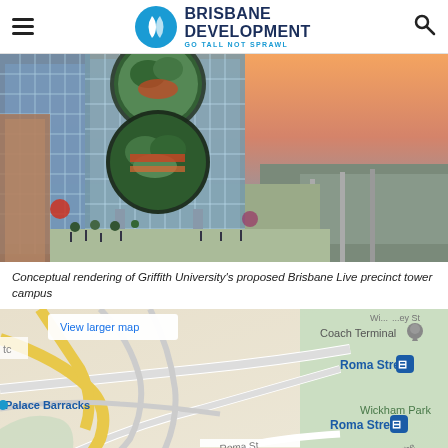BRISBANE DEVELOPMENT — GO TALL NOT SPRAWL
[Figure (photo): Conceptual rendering of Griffith University's proposed Brisbane Live precinct tower campus — aerial view showing a glazed tower building with large circular void openings filled with greenery, beside a wide pedestrian boulevard at sunset]
Conceptual rendering of Griffith University's proposed Brisbane Live precinct tower campus
[Figure (map): Google Maps view of Roma Street area, Brisbane, showing Coach Terminal, Roma Street train stations, Palace Barracks, Wickham Park, and Roma St labels. Includes 'View larger map' link.]